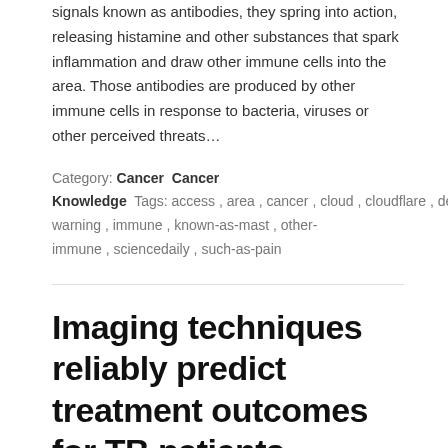signals known as antibodies, they spring into action, releasing histamine and other substances that spark inflammation and draw other immune cells into the area. Those antibodies are produced by other immune cells in response to bacteria, viruses or other perceived threats…
Category: Cancer  Cancer Knowledge  Tags: access, area, cancer, cloud, cloudflare, detect-warning, immune, known-as-mast, other-immune, sciencedaily, such-as-pain
Imaging techniques reliably predict treatment outcomes for TB patients
Traditionally used to detect cancer, PET imaging shows how organs and tissues are functioning. When used with X-rays generated from CT scans, PET scans provide a more